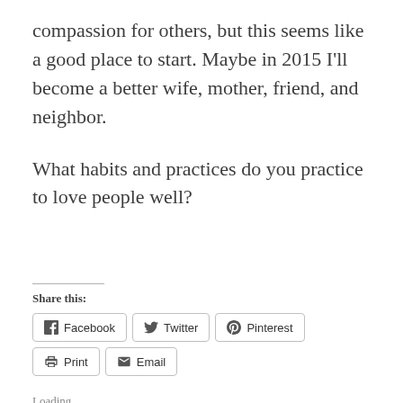compassion for others, but this seems like a good place to start. Maybe in 2015 I'll become a better wife, mother, friend, and neighbor.
What habits and practices do you practice to love people well?
Share this:
Facebook  Twitter  Pinterest  Print  Email
Loading...